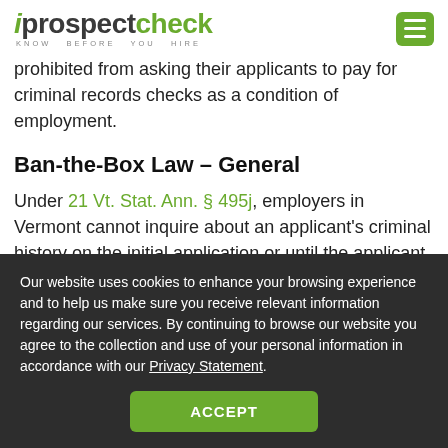[Figure (logo): iprospectcheck logo with tagline KNOW BEFORE YOU HIRE and green hamburger menu icon]
prohibited from asking their applicants to pay for criminal records checks as a condition of employment.
Ban-the-Box Law – General
Under 21 Vt. Stat. Ann. § 495j, employers in Vermont cannot inquire about an applicant's criminal history on the initial application or until the applicant has
Our website uses cookies to enhance your browsing experience and to help us make sure you receive relevant information regarding our services. By continuing to browse our website you agree to the collection and use of your personal information in accordance with our Privacy Statement.
ACCEPT